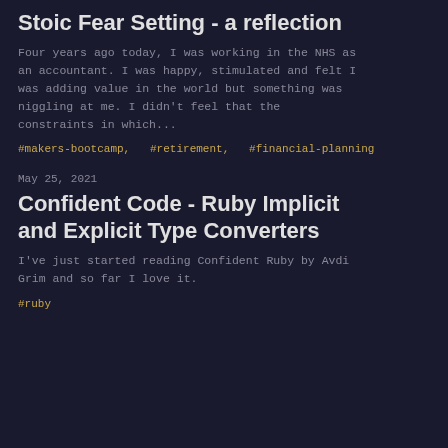Stoic Fear Setting - a reflection
Four years ago today, I was working in the NHS as an accountant. I was happy, stimulated and felt I was adding value in the world but something was niggling at me. I didn't feel that the constraints in which...
#makers-bootcamp,   #retirement,   #financial-planning
May 25, 2021
Confident Code - Ruby Implicit and Explicit Type Converters
I've just started reading Confident Ruby by Avdi Grim and so far I love it.
#ruby